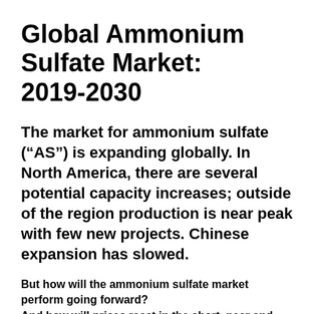Global Ammonium Sulfate Market: 2019-2030
The market for ammonium sulfate (“AS”) is expanding globally. In North America, there are several potential capacity increases; outside of the region production is near peak with few new projects. Chinese expansion has slowed.
But how will the ammonium sulfate market perform going forward?
And how will prices react in the short, near and long